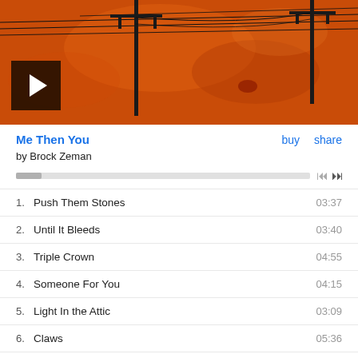[Figure (illustration): Album art for 'Me Then You' by Brock Zeman: orange/red textured background with power lines and utility poles drawn in black ink. A play button overlay is in the lower left.]
Me Then You
by Brock Zeman
1.  Push Them Stones   03:37
2.  Until It Bleeds   03:40
3.  Triple Crown   04:55
4.  Someone For You   04:15
5.  Light In the Attic   03:09
6.  Claws   05:36
7.  End Of the World   04:34